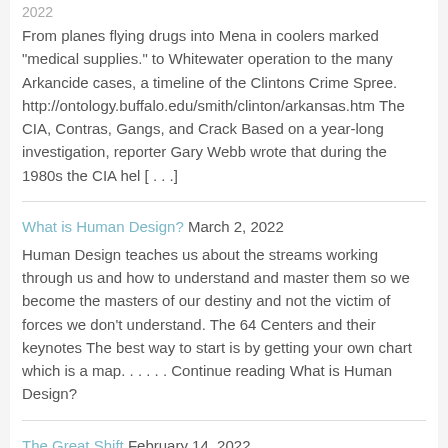2022
From planes flying drugs into Mena in coolers marked "medical supplies." to Whitewater operation to the many Arkancide cases, a timeline of the Clintons Crime Spree. http://ontology.buffalo.edu/smith/clinton/arkansas.htm The CIA, Contras, Gangs, and Crack Based on a year-long investigation, reporter Gary Webb wrote that during the 1980s the CIA hel [...]
What is Human Design? March 2, 2022
Human Design teaches us about the streams working through us and how to understand and master them so we become the masters of our destiny and not the victim of forces we don't understand. The 64 Centers and their keynotes The best way to start is by getting your own chart which is a map....... Continue reading What is Human Design?
The Great Shift February 14, 2022